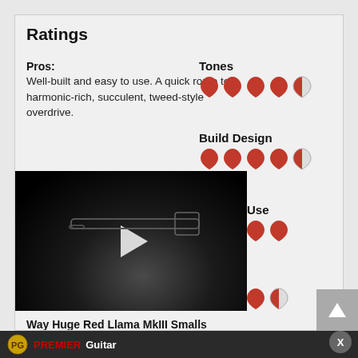Ratings
Pros: Well-built and easy to use. A quick route to harmonic-rich, succulent, tweed-style overdrive.
[Figure (infographic): Rating category 'Tones' shown with 4 filled red guitar pick icons and 1 half-filled pick icon]
[Figure (infographic): Rating category 'Build Design' shown with 4 filled red guitar pick icons and 1 half-filled pick icon]
[Figure (infographic): Rating category 'Ease Of Use' shown with 4 filled red guitar pick icons]
[Figure (infographic): Rating category 'Value' shown with 3 filled red guitar pick icons and 1 half-filled pick icon]
[Figure (photo): Video thumbnail showing a dark guitar pedal with a play button overlay]
Way Huge Red Llama MkIII Smalls
jimdunlop.com
PREMIER Guitar